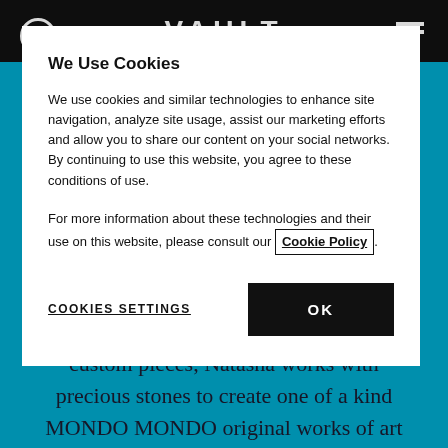VAULT
custom pieces, Natasha works with precious stones to create one of a kind MONDO MONDO original works of art and timeless ornaments of exquisite simplicity.

Simultaneously, Natasha delved
We Use Cookies
We use cookies and similar technologies to enhance site navigation, analyze site usage, assist our marketing efforts and allow you to share our content on your social networks. By continuing to use this website, you agree to these conditions of use.
For more information about these technologies and their use on this website, please consult our Cookie Policy.
COOKIES SETTINGS
OK